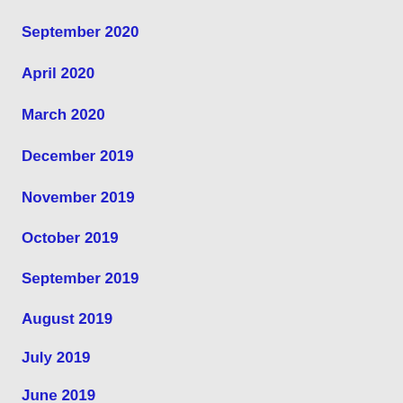September 2020
April 2020
March 2020
December 2019
November 2019
October 2019
September 2019
August 2019
July 2019
June 2019
May 2019